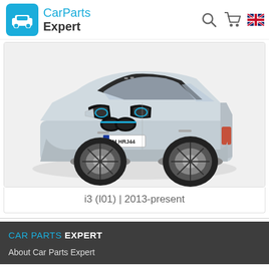CarParts Expert
[Figure (photo): BMW i3 (I01) electric car, silver and black, front three-quarter view, with German license plate, shown against white background]
i3 (I01) | 2013-present
CAR PARTS EXPERT
About Car Parts Expert